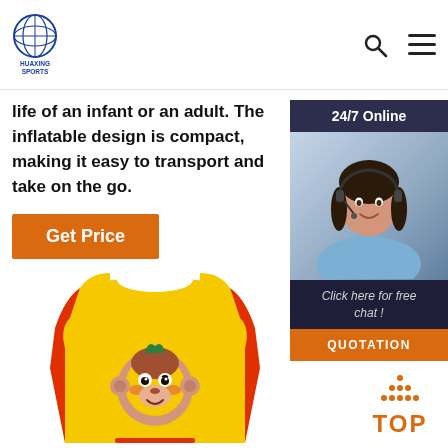[Figure (logo): Huaxing Sports logo in blue circle with globe/volleyball design and company name below]
[Figure (infographic): Search icon (magnifying glass) and hamburger menu icon in header]
life of an infant or an adult. The inflatable design is compact, making it easy to transport and take on the go.
[Figure (other): Orange 'Get Price' button]
[Figure (infographic): 24/7 Online sidebar widget with customer service representative wearing headset, 'Click here for free chat!' text, and orange QUOTATION button]
[Figure (photo): Yellow and red children's swim vest/life jacket with cartoon monkey face applique on the front]
[Figure (other): Orange TOP back-to-top button with dots above it]